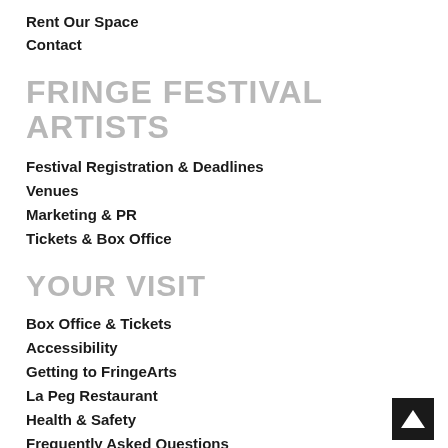Rent Our Space
Contact
FRINGE FESTIVAL ARTISTS
Festival Registration & Deadlines
Venues
Marketing & PR
Tickets & Box Office
YOUR VISIT
Box Office & Tickets
Accessibility
Getting to FringeArts
La Peg Restaurant
Health & Safety
Frequently Asked Questions
[Figure (logo): Dark square logo with white upward-pointing triangle/chevron]